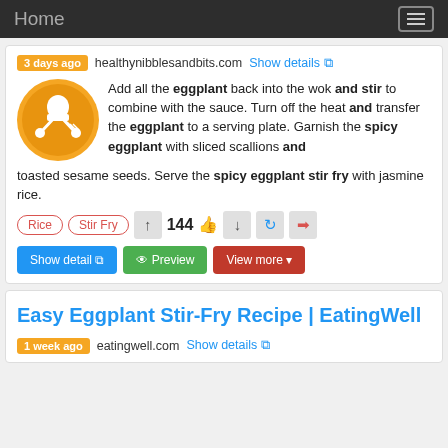Home
3 days ago  healthynibblesandbits.com  Show details
Add all the eggplant back into the wok and stir to combine with the sauce. Turn off the heat and transfer the eggplant to a serving plate. Garnish the spicy eggplant with sliced scallions and toasted sesame seeds. Serve the spicy eggplant stir fry with jasmine rice.
Rice  Stir Fry  144  Show detail  Preview  View more
Easy Eggplant Stir-Fry Recipe | EatingWell
1 week ago  eatingwell.com  Show details